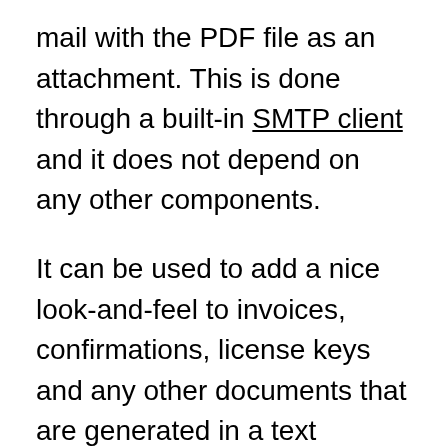mail with the PDF file as an attachment. This is done through a built-in SMTP client and it does not depend on any other components.
It can be used to add a nice look-and-feel to invoices, confirmations, license keys and any other documents that are generated in a text environment and sent out to customers or other recipients.
Form2PDF is compatible with Acrobat Reader 4 and later.
Licensed mode vs demo